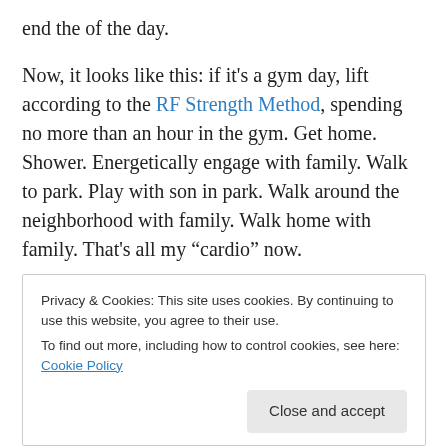end the of the day.
Now, it looks like this: if it's a gym day, lift according to the RF Strength Method, spending no more than an hour in the gym. Get home. Shower. Energetically engage with family. Walk to park. Play with son in park. Walk around the neighborhood with family. Walk home with family. That's all my “cardio” now.
Privacy & Cookies: This site uses cookies. By continuing to use this website, you agree to their use.
To find out more, including how to control cookies, see here: Cookie Policy
Close and accept
I don't really have to explain this one. A couple of days per